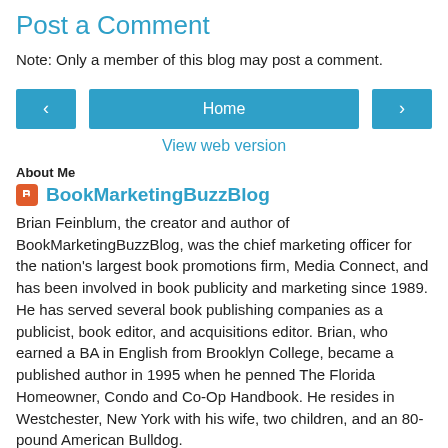Post a Comment
Note: Only a member of this blog may post a comment.
[Figure (other): Navigation row with left arrow button, Home button, and right arrow button]
View web version
About Me
BookMarketingBuzzBlog
Brian Feinblum, the creator and author of BookMarketingBuzzBlog, was the chief marketing officer for the nation's largest book promotions firm, Media Connect, and has been involved in book publicity and marketing since 1989. He has served several book publishing companies as a publicist, book editor, and acquisitions editor. Brian, who earned a BA in English from Brooklyn College, became a published author in 1995 when he penned The Florida Homeowner, Condo and Co-Op Handbook. He resides in Westchester, New York with his wife, two children, and an 80-pound American Bulldog.